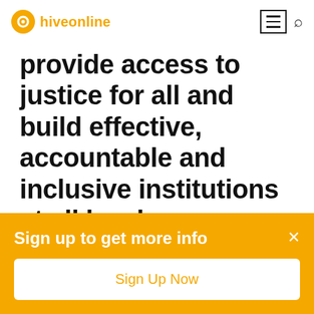hiveonline
provide access to justice for all and build effective, accountable and inclusive institutions at all levels
16.5 Substantially reduce corruption and bribery in all their forms
Sign up to get more info
Sign Up Now